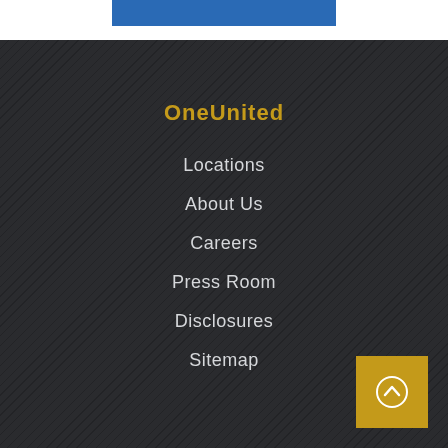OneUnited
Locations
About Us
Careers
Press Room
Disclosures
Sitemap